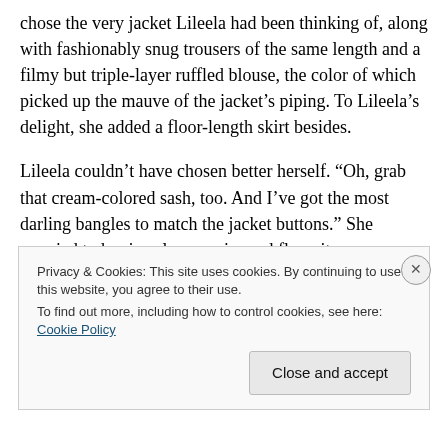chose the very jacket Lileela had been thinking of, along with fashionably snug trousers of the same length and a filmy but triple-layer ruffled blouse, the color of which picked up the mauve of the jacket’s piping. To Lileela’s delight, she added a floor-length skirt besides.
Lileela couldn’t have chosen better herself. “Oh, grab that cream-colored sash, too. And I’ve got the most darling bangles to match the jacket buttons.” She scurried to her jewelry armoire and flung it open.
That was another thing she would sorely miss. What sort
Privacy & Cookies: This site uses cookies. By continuing to use this website, you agree to their use.
To find out more, including how to control cookies, see here: Cookie Policy
Close and accept